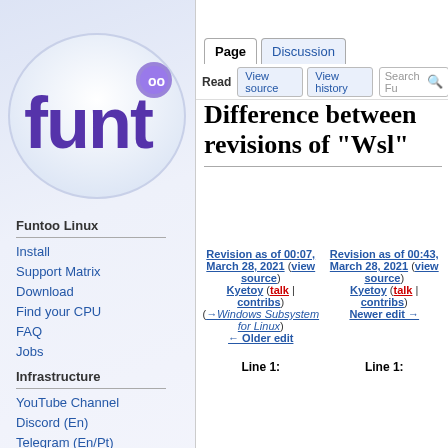🌐 English | Log in
[Figure (logo): Funtoo Linux logo with stylized 'funt' text in purple on a white rounded badge shape]
Funtoo Linux
Install
Support Matrix
Download
Find your CPU
FAQ
Jobs
Infrastructure
YouTube Channel
Discord (En)
Telegram (En/Pt)
Report a Bug
Difference between revisions of "Wsl"
| Revision as of 00:07, March 28, 2021 (view source) | Revision as of 00:43, March 28, 2021 (view source) |
| --- | --- |
| Kyetoy (talk | contribs)
(→Windows Subsystem for Linux)
← Older edit | Kyetoy (talk | contribs)
Newer edit → |
Line 1:
Line 1: